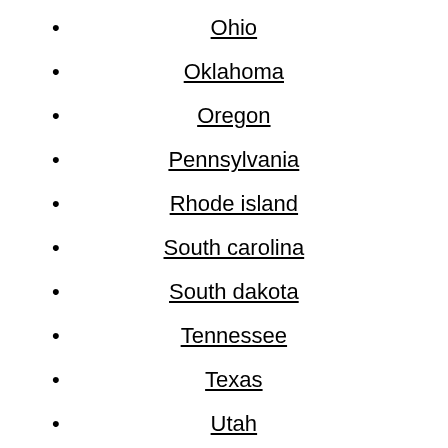Ohio
Oklahoma
Oregon
Pennsylvania
Rhode island
South carolina
South dakota
Tennessee
Texas
Utah